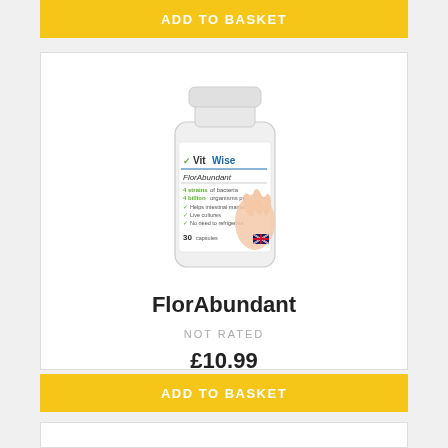ADD TO BASKET
[Figure (photo): VitWise FlorAbundant supplement bottle with hand image, 30 capsules, UK flag]
FlorAbundant
NOT RATED
£10.99
ADD TO BASKET